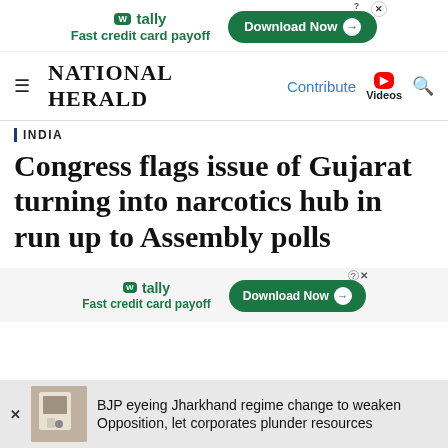[Figure (screenshot): Tally advertisement banner - Fast credit card payoff with Download Now button]
NATIONAL HERALD | Contribute | Videos
INDIA
Congress flags issue of Gujarat turning into narcotics hub in run up to Assembly polls
[Figure (screenshot): Tally advertisement banner - Fast credit card payoff with Download Now button (second instance)]
BJP eyeing Jharkhand regime change to weaken Opposition, let corporates plunder resources